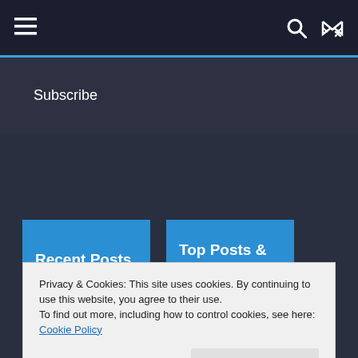☰  🔍  ⇌
Subscribe
Recent Posts
Top Posts & Pages
50 Worst Performing S&P
25 Worst Performing
Privacy & Cookies: This site uses cookies. By continuing to use this website, you agree to their use.
To find out more, including how to control cookies, see here: Cookie Policy
Close and accept
25 Worst